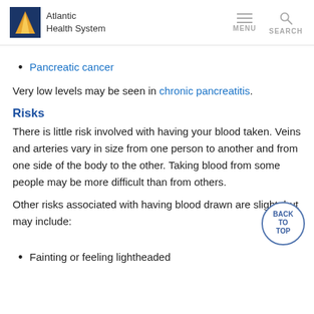Atlantic Health System — MENU SEARCH
Pancreatic cancer
Very low levels may be seen in chronic pancreatitis.
Risks
There is little risk involved with having your blood taken. Veins and arteries vary in size from one person to another and from one side of the body to the other. Taking blood from some people may be more difficult than from others.
Other risks associated with having blood drawn are slight, but may include:
Fainting or feeling lightheaded